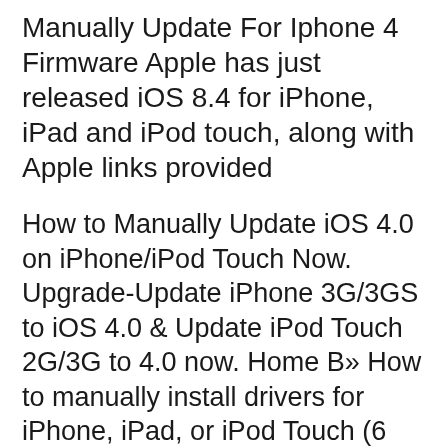Manually Update For Iphone 4 Firmware Apple has just released iOS 8.4 for iPhone, iPad and iPod touch, along with Apple links provided
How to Manually Update iOS 4.0 on iPhone/iPod Touch Now. Upgrade-Update iPhone 3G/3GS to iOS 4.0 & Update iPod Touch 2G/3G to 4.0 now. Home B» How to manually install drivers for iPhone, iPad, or iPod Touch (6 votes, average: 4.83 out of 5) This article explains how to install the drivers manually.
2017-02-03B B· In this step-by-step tutorial, we'll show you how to update AirPods manually and check the firmware version in order to ensure the